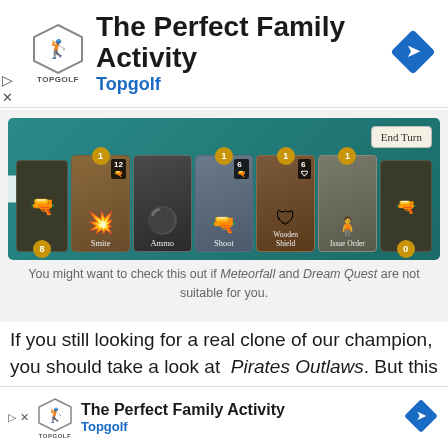[Figure (screenshot): Topgolf advertisement banner with logo, title 'The Perfect Family Activity', subtitle 'Topgolf', and blue navigation diamond icon]
[Figure (screenshot): Pirates Outlaws mobile card game screenshot showing cards: Smite (cost 1, attack 12), Ammo, Shoot (cost 1, value 6), Wooden Shield (cost 1, value 6), Issue Order (cost 1), with End Turn button. Caption reads: You might want to check this out if Meteorfall and Dream Quest are not suitable for you.]
If you still looking for a real clone of our champion, you should take a look at Pirates Outlaws. But this title still has some differences with all those paywalls and in-app purchases. You might want to check it out if Meteorfall and Dream Quest are not suitable for you.
[Figure (screenshot): Topgolf advertisement banner (bottom) with logo, title 'The Perfect Family Activity', subtitle 'Topgolf', and blue navigation diamond icon]